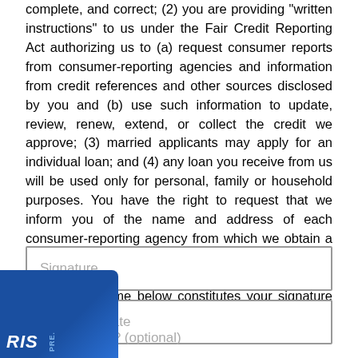complete, and correct; (2) you are providing "written instructions" to us under the Fair Credit Reporting Act authorizing us to (a) request consumer reports from consumer-reporting agencies and information from credit references and other sources disclosed by you and (b) use such information to update, review, renew, extend, or collect the credit we approve; (3) married applicants may apply for an individual loan; and (4) any loan you receive from us will be used only for personal, family or household purposes. You have the right to request that we inform you of the name and address of each consumer-reporting agency from which we obtain a consumer report on you in connection with this Application. You further acknowledge and agree that typing your name below constitutes your signature and authorizes the processing of your Application.
Signature
Signature Date
Joint Applicant? (optional)